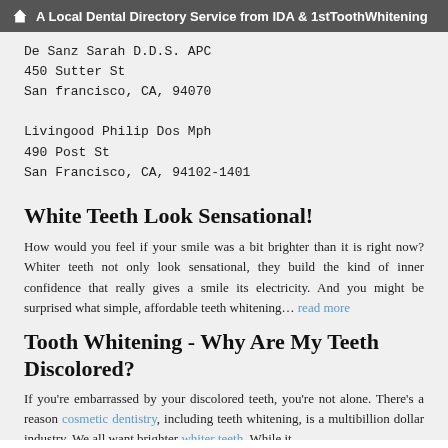A Local Dental Directory Service from IDA & 1stToothWhitening
De Sanz Sarah D.D.S. APC
450 Sutter St
San francisco, CA, 94070
Livingood Philip Dos Mph
490 Post St
San Francisco, CA, 94102-1401
White Teeth Look Sensational!
How would you feel if your smile was a bit brighter than it is right now? Whiter teeth not only look sensational, they build the kind of inner confidence that really gives a smile its electricity. And you might be surprised what simple, affordable teeth whitening... read more
Tooth Whitening - Why Are My Teeth Discolored?
If you're embarrassed by your discolored teeth, you're not alone. There's a reason cosmetic dentistry, including teeth whitening, is a multibillion dollar industry. We all want brighter whiter teeth. While it